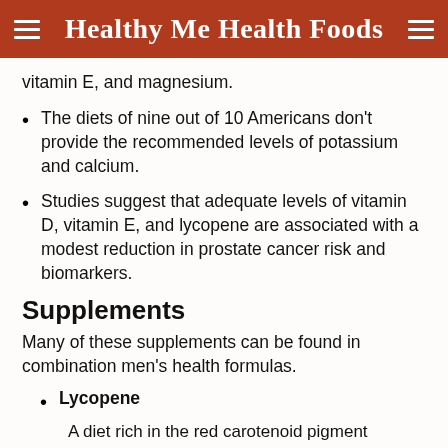Healthy Me Health Foods
vitamin E, and magnesium.
The diets of nine out of 10 Americans don't provide the recommended levels of potassium and calcium.
Studies suggest that adequate levels of vitamin D, vitamin E, and lycopene are associated with a modest reduction in prostate cancer risk and biomarkers.
Supplements
Many of these supplements can be found in combination men's health formulas.
Lycopene
A diet rich in the red carotenoid pigment